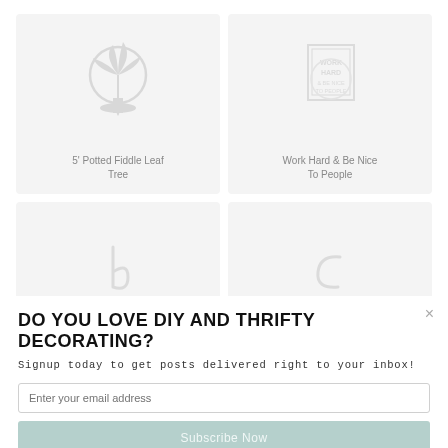[Figure (screenshot): Product grid showing 4 product cards in 2 columns. Top-left: '5' Potted Fiddle Leaf Tree' with plant icon. Top-right: 'Work Hard & Be Nice To People' with sign icon. Bottom two cards partially visible with letter and hook icons.]
5' Potted Fiddle Leaf Tree
Work Hard & Be Nice To People
DO YOU LOVE DIY AND THRIFTY DECORATING?
Signup today to get posts delivered right to your inbox!
Enter your email address
Subscribe Now